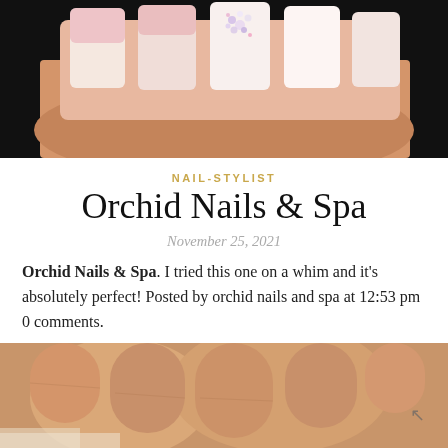[Figure (photo): Close-up photo of manicured nails with white ombre gradient and rhinestone decoration on dark background]
NAIL-STYLIST
Orchid Nails & Spa
November 25, 2021
Orchid Nails & Spa. I tried this one on a whim and it's absolutely perfect! Posted by orchid nails and spa at 12:53 pm 0 comments.
[Figure (photo): Close-up photo of a hand with fingers showing natural nails, warm skin tone]